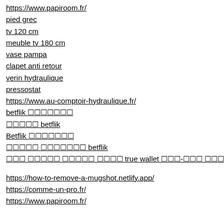https://www.papiroom.fr/
pied grec
tv 120 cm
meuble tv 180 cm
vase pampa
clapet anti retour
verin hydraulique
pressostat
https://www.au-comptoir-hydraulique.fr/
betflik ⬜⬜⬜⬜⬜⬜⬜
⬜⬜⬜⬜⬜ betflik
Betflik ⬜⬜⬜⬜⬜⬜⬜
⬜⬜⬜⬜⬜ ⬜⬜⬜⬜⬜⬜⬜ betflik
⬜⬜⬜ ⬜⬜⬜⬜⬜ ⬜⬜⬜⬜⬜ ⬜⬜⬜⬜ true wallet ⬜⬜⬜-⬜⬜⬜ ⬜⬜⬜⬜⬜⬜⬜ ⬜⬜⬜⬜
https://how-to-remove-a-mugshot.netlify.app/
https://comme-un-pro.fr/
https://www.papiroom.fr/